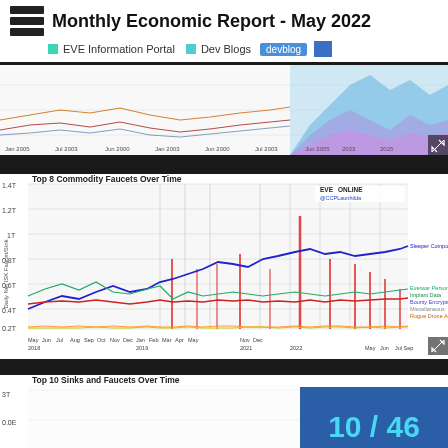Monthly Economic Report - May 2022
EVE Information Portal  Dev Blogs  devblog
[Figure (line-chart): Partial view of an upper time-series line chart from EVE Online economic data, showing multiple colored lines over time from around 2003 to 2022 with a colorful area chart on the right side.]
[Figure (line-chart): Multi-line time series chart showing daily net ISK faucets/sinks for top 8 commodities over time from May 2018 to Sep 2022. Y-axis ranges from 0 to 1.4T. Lines include Sleeper Components (blue, highest ~0.8T), Escalations (red), Everwar Personal Effects, Implant Data, Bounty Encrypted Bonds, Miscellaneous, Rogue Drone Analysis Beta. Sharp spikes visible throughout.]
[Figure (line-chart): Partial view of a multi-line time series chart showing top 10 sinks and faucets over time. Y-axis label shows 3T and 0.0E visible. Chart is cut off at the bottom of the page.]
10 / 46